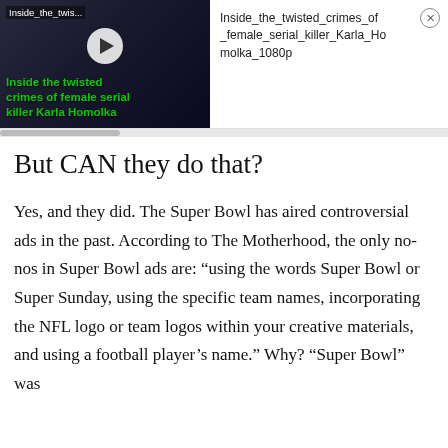[Figure (screenshot): Video thumbnail showing 'Inside the twisted crimes of female serial killer Karla Homolka' with green title text overlay, play button, and dark background with people in image]
Inside_the_twisted_crimes_of_female_serial_killer_Karla_Homolka_1080p
But CAN they do that?
Yes, and they did. The Super Bowl has aired controversial ads in the past. According to The Motherhood, the only no-nos in Super Bowl ads are: “using the words Super Bowl or Super Sunday, using the specific team names, incorporating the NFL logo or team logos within your creative materials, and using a football player’s name.” Why? “Super Bowl” was